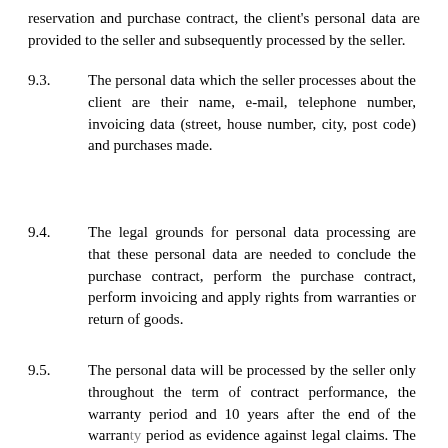reservation and purchase contract, the client's personal data are provided to the seller and subsequently processed by the seller.
9.3. The personal data which the seller processes about the client are their name, e-mail, telephone number, invoicing data (street, house number, city, post code) and purchases made.
9.4. The legal grounds for personal data processing are that these personal data are needed to conclude the purchase contract, perform the purchase contract, perform invoicing and apply rights from warranties or return of goods.
9.5. The personal data will be processed by the seller only throughout the term of contract performance, the warranty period and 10 years after the end of the warranty period as evidence against legal claims. The personal data which must be stored pursuant to the respective laws even afterwards will be processed for the period specified by the respective legal regulations. The personal data processed in